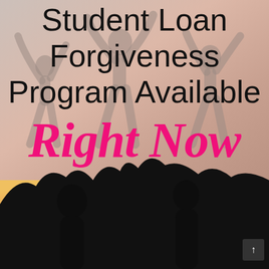[Figure (illustration): Background image: upper half shows silhouettes of people celebrating with arms raised against a warm pinkish-gray gradient sky. Lower quarter shows darker silhouettes against a golden sunset/sunburst background.]
Student Loan Forgiveness Program Available Right Now